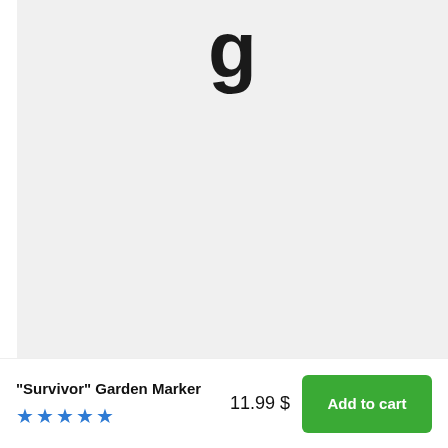[Figure (photo): Product image area with light gray background showing partial dark letter/logo at top edge]
“Survivor” Garden Marker
★★★★★
11.99 $
Add to cart